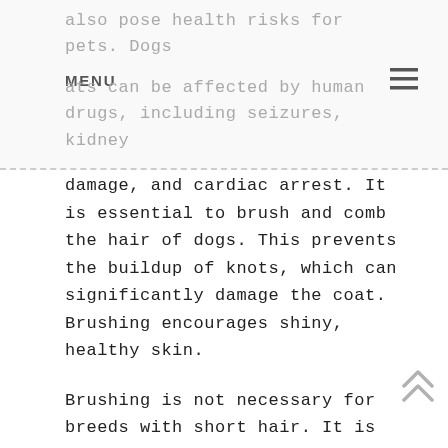also pose health risks for pets. Dogs and cats can be affected by human drugs, including seizures, kidney
damage, and cardiac arrest. It is essential to brush and comb the hair of dogs. This prevents the buildup of knots, which can significantly damage the coat. Brushing encourages shiny, healthy skin.

Brushing is not necessary for breeds with short hair. It is important to remember that the dog's breed will determine when it should be brushed. Dogs with thick hair should be brushed every other week. Long-haired dogs should be brushed every other